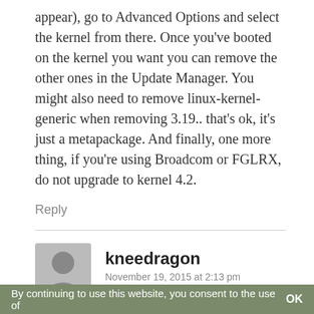appear), go to Advanced Options and select the kernel from there. Once you've booted on the kernel you want you can remove the other ones in the Update Manager. You might also need to remove linux-kernel-generic when removing 3.19.. that's ok, it's just a metapackage. And finally, one more thing, if you're using Broadcom or FGLRX, do not upgrade to kernel 4.2.
Reply
kneedragon
November 19, 2015 at 2:13 pm
So far, after about 24 hours running as a Live CD off a USB, it's just like 17.2 but better. I have the 64 bit Mate version. Compared to 17.2 (which I have used as my
By continuing to use this website, you consent to the use of    OK